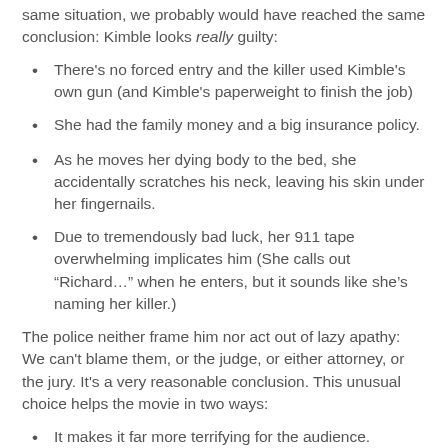same situation, we probably would have reached the same conclusion: Kimble looks really guilty:
There's no forced entry and the killer used Kimble's own gun (and Kimble's paperweight to finish the job)
She had the family money and a big insurance policy.
As he moves her dying body to the bed, she accidentally scratches his neck, leaving his skin under her fingernails.
Due to tremendously bad luck, her 911 tape overwhelming implicates him (She calls out “Richard…” when he enters, but it sounds like she’s naming her killer.)
The police neither frame him nor act out of lazy apathy: We can't blame them, or the judge, or either attorney, or the jury. It's a very reasonable conclusion. This unusual choice helps the movie in two ways:
It makes it far more terrifying for the audience.
This could happen to any of us. It's a nightmare…